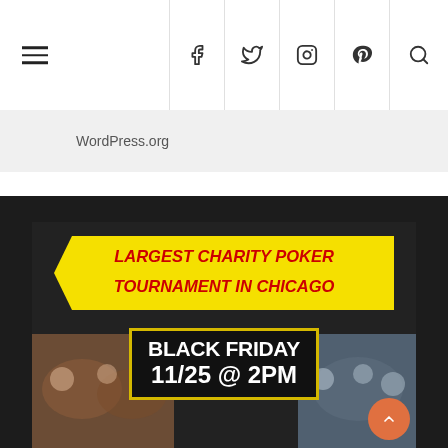Navigation header with hamburger menu and social icons (Facebook, Twitter, Instagram, Pinterest, Search)
WordPress.org
[Figure (infographic): Charity poker tournament promotional poster with yellow banner reading 'LARGEST CHARITY POKER TOURNAMENT IN CHICAGO' and black box reading 'BLACK FRIDAY 11/25 @ 2PM' with photos of poker players on sides]